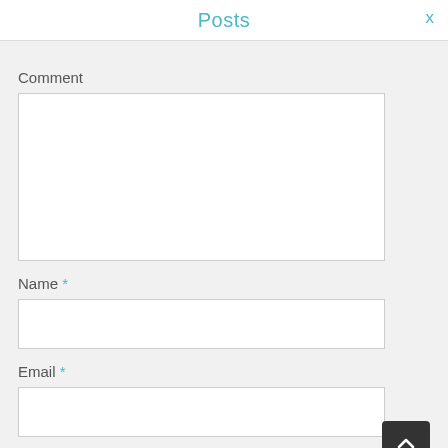Posts
Comment
[Figure (screenshot): Empty textarea comment input box]
Name *
[Figure (screenshot): Empty name text input field]
Email *
[Figure (screenshot): Empty email text input field]
Website
[Figure (screenshot): Partial empty website text input field]
[Figure (other): Back to top button with upward chevron arrow, dark background]